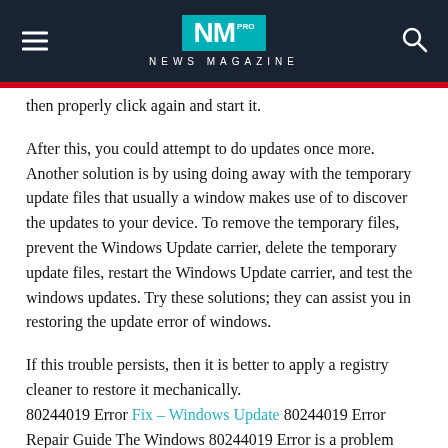NM PRO NEWS MAGAZINE
then properly click again and start it.
After this, you could attempt to do updates once more. Another solution is by using doing away with the temporary update files that usually a window makes use of to discover the updates to your device. To remove the temporary files, prevent the Windows Update carrier, delete the temporary update files, restart the Windows Update carrier, and test the windows updates. Try these solutions; they can assist you in restoring the update error of windows.
If this trouble persists, then it is better to apply a registry cleaner to restore it mechanically.
80244019 Error Fix – Windows Update 80244019 Error Repair Guide The Windows 80244019 Error is a problem within the PC. This is typically skilled whilst the Windows Update function is being used to replace Windows. This type of error can occur due